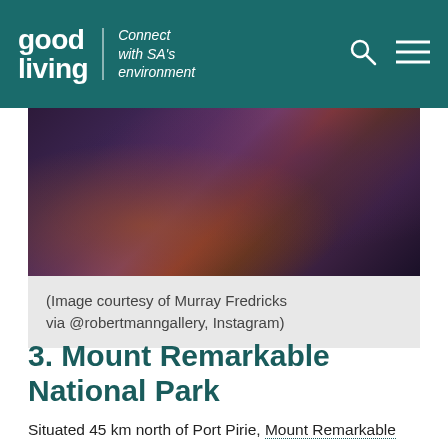good living | Connect with SA's environment
[Figure (photo): Blurred dark purple and warm orange toned nature photograph, likely a night or twilight scene.]
(Image courtesy of Murray Fredricks via @robertmanngallery, Instagram)
3. Mount Remarkable National Park
Situated 45 km north of Port Pirie, Mount Remarkable National Park is an ideal place to take the family, with